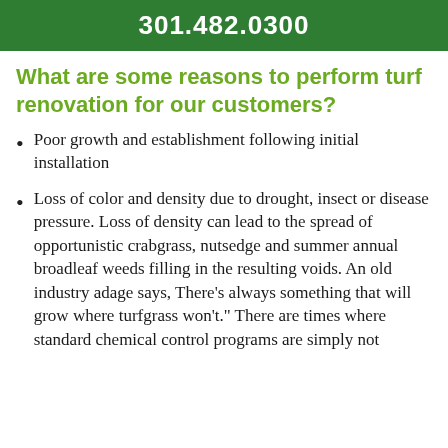301.482.0300
What are some reasons to perform turf renovation for our customers?
Poor growth and establishment following initial installation
Loss of color and density due to drought, insect or disease pressure. Loss of density can lead to the spread of opportunistic crabgrass, nutsedge and summer annual broadleaf weeds filling in the resulting voids. An old industry adage says, There's always something that will grow where turfgrass won't." There are times where standard chemical control programs are simply not